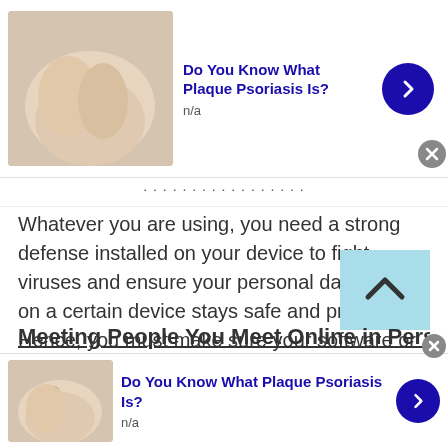[Figure (infographic): Top advertisement banner: skin/hand photo, title 'Do You Know What Plaque Psoriasis Is?', subtitle 'n/a', blue arrow button, close button]
Whatever you are using, you need a strong defense installed on your device to fight viruses and ensure your personal data stored on a certain device stays safe and protected. Hence, you must make sure your software or security features are always up to date. Do not delay installing the latest versions because these will be your main defense against any virus that you might encounter while using a platform for Austrian Talking .
Meeting People You Meet Online in Person
[Figure (infographic): Bottom advertisement banner: skin/hand photo, title 'Do You Know What Plaque Psoriasis Is?', subtitle 'n/a', blue arrow button, close button]